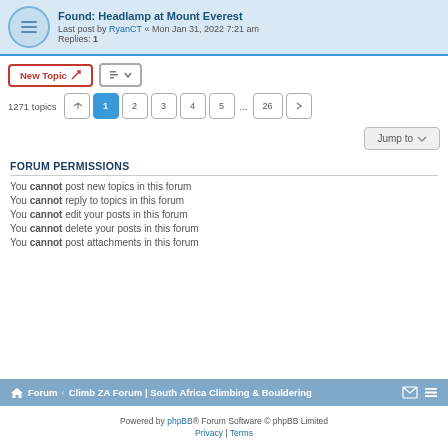Found: Headlamp at Mount Everest
Last post by RyanCT « Mon Jan 31, 2022 7:21 am
Replies: 1
New Topic
1271 topics  1 2 3 4 5 ... 26
Jump to
FORUM PERMISSIONS
You cannot post new topics in this forum
You cannot reply to topics in this forum
You cannot edit your posts in this forum
You cannot delete your posts in this forum
You cannot post attachments in this forum
Forum · Climb ZA Forum | South Africa Climbing & Bouldering
Powered by phpBB® Forum Software © phpBB Limited
Privacy | Terms